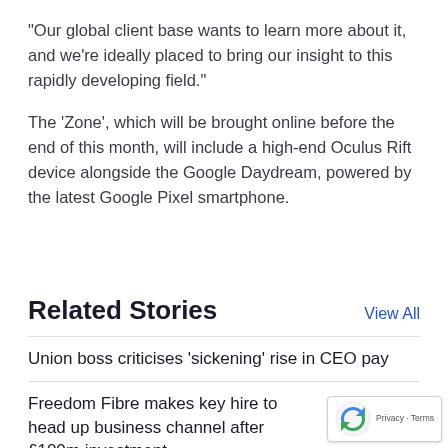“Our global client base wants to learn more about it, and we’re ideally placed to bring our insight to this rapidly developing field.”
The ‘Zone’, which will be brought online before the end of this month, will include a high-end Oculus Rift device alongside the Google Daydream, powered by the latest Google Pixel smartphone.
Related Stories
View All
Union boss criticises ‘sickening’ rise in CEO pay
Freedom Fibre makes key hire to head up business channel after £100m investment